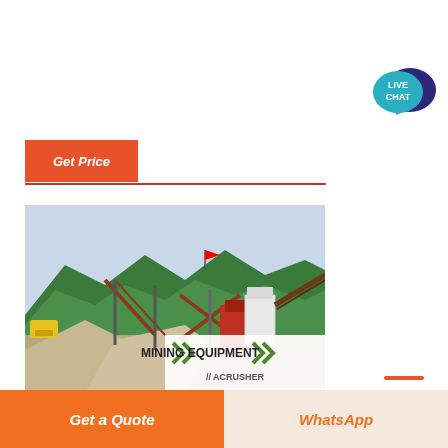Get Price
[Figure (photo): Mining equipment / stone crusher facility at a quarry site with green hills in the background. Red crushing machinery and conveyor belts visible. Gravel piles in foreground. Overlay text: MINING EQUIPMENT ACRUSHER]
Stone Crusher manufacturers & suppliers -
Get a Quote
WhatsApp